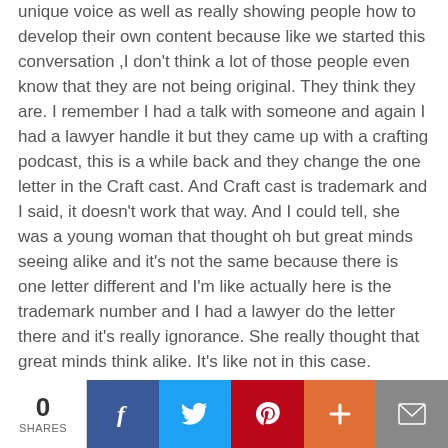unique voice as well as really showing people how to develop their own content because like we started this conversation ,I don't think a lot of those people even know that they are not being original. They think they are. I remember I had a talk with someone and again I had a lawyer handle it but they came up with a crafting podcast, this is a while back and they change the one letter in the Craft cast. And Craft cast is trademark and I said, it doesn't work that way. And I could tell, she was a young woman that thought oh but great minds seeing alike and it's not the same because there is one letter different and I'm like actually here is the trademark number and I had a lawyer do the letter there and it's really ignorance. She really thought that great minds think alike. It's like not in this case.
Hariette: There seem to be new excuses and part of it learning to be informed, which is why I gave the lecture and I hope that
We use cookies on this site to enhance your user experience. By clicking any link on this page you are giving your consent to set cookies. We want everyone to enjoy their time on our site. Please email us with any concerns.
d. Your good honey. You're getting it out
0 SHARES